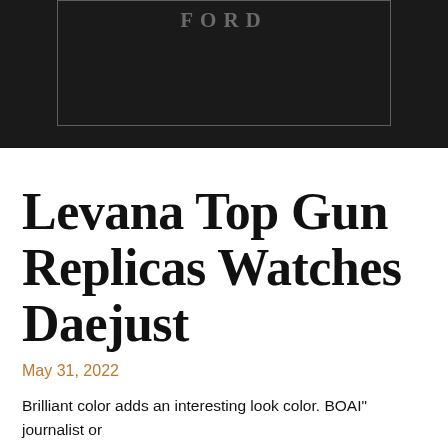[Figure (photo): Dark header image with a rectangular bordered box containing partial logo text 'FORD' in gray lettering on dark background]
Levana Top Gun Replicas Watches Daejust
May 31, 2022
Brilliant color adds an interesting look color. BOAI" journalist or